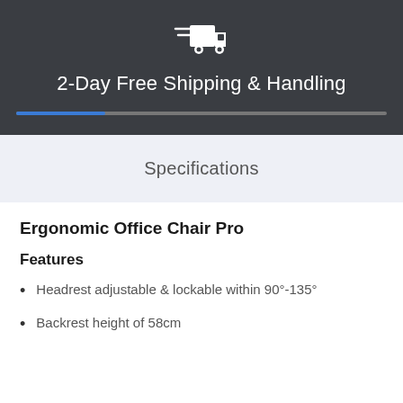[Figure (illustration): White delivery truck icon with motion lines on dark background]
2-Day Free Shipping & Handling
[Figure (infographic): Progress bar with blue fill at approximately 24% of total width on dark background]
Specifications
Ergonomic Office Chair Pro
Features
Headrest adjustable & lockable within 90°-135°
Backrest height of 58cm